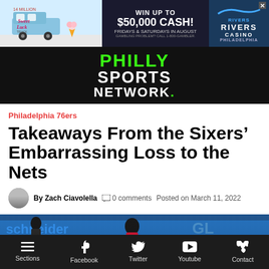[Figure (screenshot): Advertisement banner for Rivers Casino Philadelphia: Sweet Luck Truck promotion - Win up to $50,000 Cash, Fridays & Saturdays in August]
[Figure (logo): Philly Sports Network logo in green and white text on black background]
Philadelphia 76ers
Takeaways From the Sixers' Embarrassing Loss to the Nets
By Zach Ciavolella   0 comments   Posted on March 11, 2022
[Figure (photo): Basketball player (Joel Embiid) on court at Philadelphia 76ers game, arena background visible]
Sections   Facebook   Twitter   Youtube   Contact